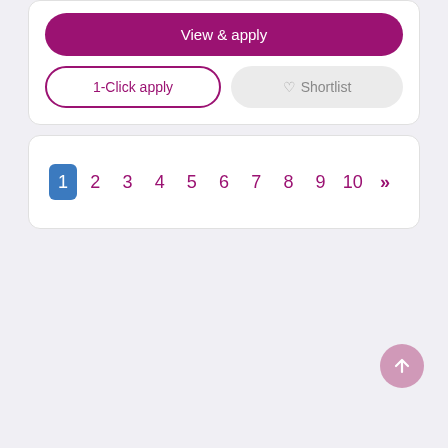View & apply
1-Click apply
Shortlist
1 2 3 4 5 6 7 8 9 10 >>
[Figure (other): Scroll-to-top button, pink circle with upward arrow]